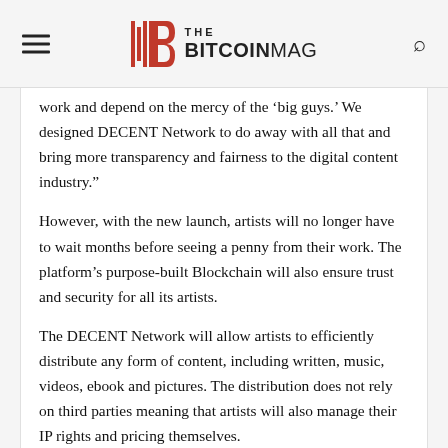THE BITCOINMAG
work and depend on the mercy of the ‘big guys.’ We designed DECENT Network to do away with all that and bring more transparency and fairness to the digital content industry.”
However, with the new launch, artists will no longer have to wait months before seeing a penny from their work. The platform’s purpose-built Blockchain will also ensure trust and security for all its artists.
The DECENT Network will allow artists to efficiently distribute any form of content, including written, music, videos, ebook and pictures. The distribution does not rely on third parties meaning that artists will also manage their IP rights and pricing themselves.
“DECENT Network is a reaction to the issues that the majority of content producers face nowadays in the